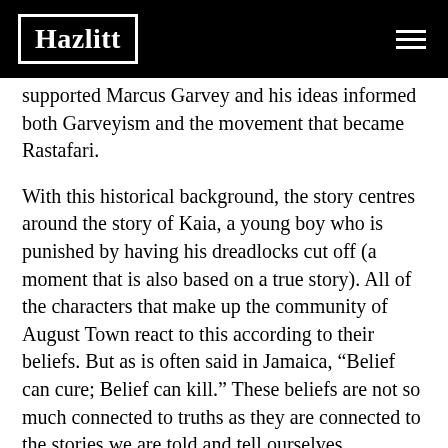Hazlitt
supported Marcus Garvey and his ideas informed both Garveyism and the movement that became Rastafari.
With this historical background, the story centres around the story of Kaia, a young boy who is punished by having his dreadlocks cut off (a moment that is also based on a true story). All of the characters that make up the community of August Town react to this according to their beliefs. But as is often said in Jamaica, “Belief can cure; Belief can kill.” These beliefs are not so much connected to truths as they are connected to the stories we are told and tell ourselves.